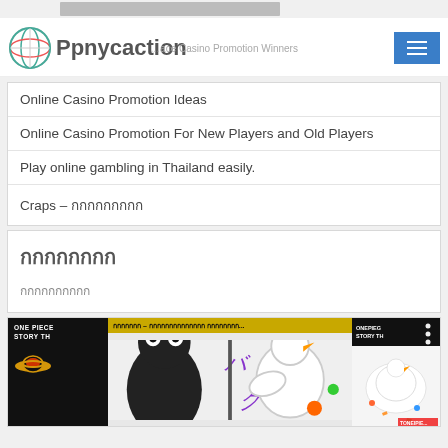Ppnycaction
Online Casino Promotion Ideas
Online Casino Promotion For New Players and Old Players
Play online gambling in Thailand easily.
Craps – กกกกกกกกก
กกกกกกกก
กกกกกกกกกก
[Figure (screenshot): ONE PIECE STORY TH manga screenshot showing animated characters]